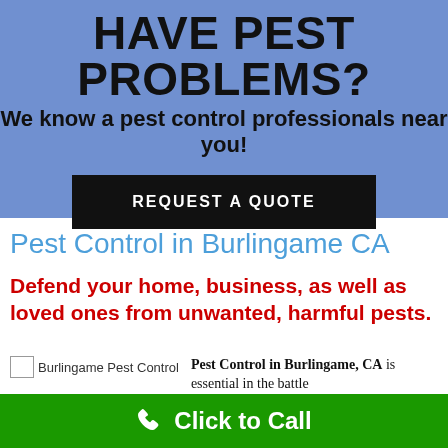HAVE PEST PROBLEMS?
We know a pest control professionals near you!
REQUEST A QUOTE
Pest Control in Burlingame CA
Defend your home, business, as well as loved ones from unwanted, harmful pests.
[Figure (photo): Burlingame Pest Control image placeholder]
Pest Control in Burlingame, CA is essential in the battle
Click to Call